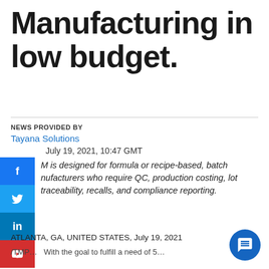Manufacturing in low budget.
NEWS PROVIDED BY
Tayana Solutions
July 19, 2021, 10:47 GMT
M is designed for formula or recipe-based, batch nufacturers who require QC, production costing, lot traceability, recalls, and compliance reporting.
ATLANTA, GA, UNITED STATES, July 19, 2021